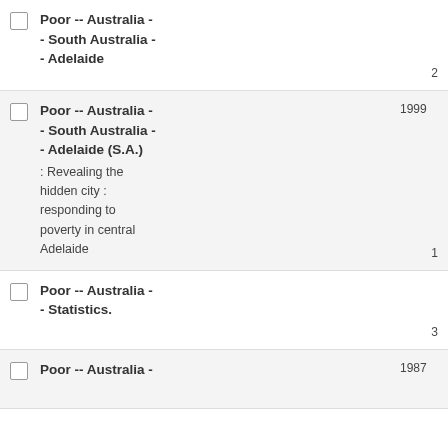Poor -- Australia - - South Australia - - Adelaide
Poor -- Australia - - South Australia - - Adelaide (S.A.) : Revealing the hidden city : responding to poverty in central Adelaide
Poor -- Australia - - Statistics.
Poor -- Australia -